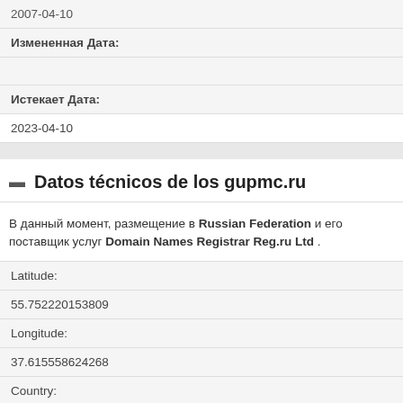| 2007-04-10 |
| Измененная Дата: |
| Истекает Дата: |
| 2023-04-10 |
Datos técnicos de los gupmc.ru
В данный момент, размещение в Russian Federation и его поставщик услуг Domain Names Registrar Reg.ru Ltd .
| Latitude: |
| 55.752220153809 |
| Longitude: |
| 37.615558624268 |
| Country: |